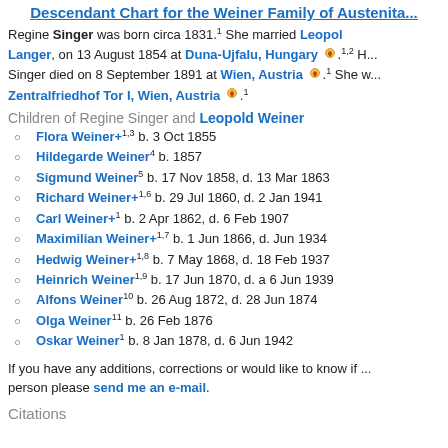Descendant Chart for the Weiner Family of Austenita...
Regine Singer was born circa 1831.1 She married Leopold Langer, on 13 August 1854 at Duna-Ujfalu, Hungary. 1,2 Singer died on 8 September 1891 at Wien, Austria. 1 She w... Zentralfriedhof Tor I, Wien, Austria. 1
Children of Regine Singer and Leopold Weiner
Flora Weiner+1,3 b. 3 Oct 1855
Hildegarde Weiner4 b. 1857
Sigmund Weiner5 b. 17 Nov 1858, d. 13 Mar 1863
Richard Weiner+1,6 b. 29 Jul 1860, d. 2 Jan 1941
Carl Weiner+1 b. 2 Apr 1862, d. 6 Feb 1907
Maximilian Weiner+1,7 b. 1 Jun 1866, d. Jun 1934
Hedwig Weiner+1,8 b. 7 May 1868, d. 18 Feb 1937
Heinrich Weiner1,9 b. 17 Jun 1870, d. a 6 Jun 1939
Alfons Weiner10 b. 26 Aug 1872, d. 28 Jun 1874
Olga Weiner11 b. 26 Feb 1876
Oskar Weiner1 b. 8 Jan 1878, d. 6 Jun 1942
If you have any additions, corrections or would like to know if ... person please send me an e-mail.
Citations